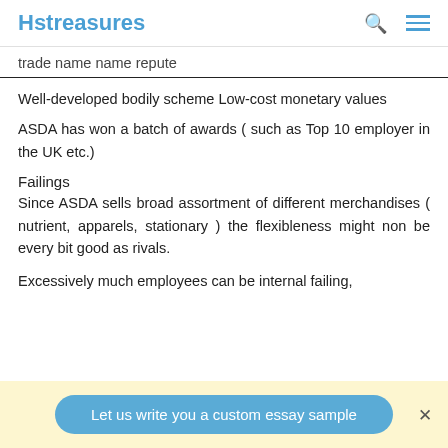Hstreasures
trade name name repute
Well-developed bodily scheme Low-cost monetary values
ASDA has won a batch of awards ( such as Top 10 employer in the UK etc.)
Failings
Since ASDA sells broad assortment of different merchandises ( nutrient, apparels, stationary ) the flexibleness might non be every bit good as rivals.
Excessively much employees can be internal failing,
Let us write you a custom essay sample